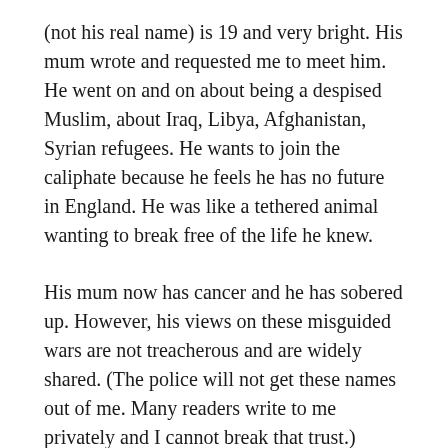(not his real name) is 19 and very bright. His mum wrote and requested me to meet him. He went on and on about being a despised Muslim, about Iraq, Libya, Afghanistan, Syrian refugees. He wants to join the caliphate because he feels he has no future in England. He was like a tethered animal wanting to break free of the life he knew.
His mum now has cancer and he has sobered up. However, his views on these misguided wars are not treacherous and are widely shared. (The police will not get these names out of me. Many readers write to me privately and I cannot break that trust.)
The European crusaders who attacked Iraq and